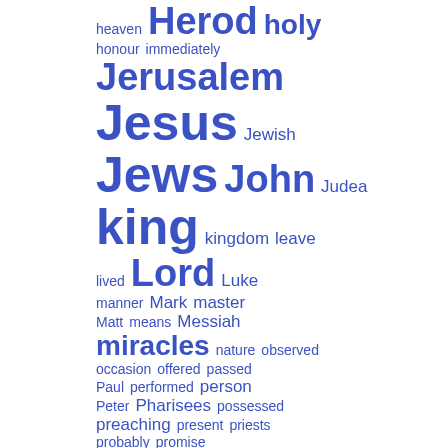[Figure (infographic): Word cloud showing biblical/religious terms in varying font sizes indicating frequency. Words include heaven, Herod, holy, honour, immediately, Jerusalem, Jesus, Jewish, Jews, John, Judea, king, kingdom, leave, lived, Lord, Luke, manner, Mark, master, Matt, means, Messiah, miracles, nature, observed, occasion, offered, passed, Paul, performed, person, Peter, Pharisees, possessed, preaching, present, priests, probably, promise, prophet, reason, received, rest, Romans, Saviour, sent, shew, soon. Largest words: Jesus, Jews, king, received, sent, prophet. All text in blue.]